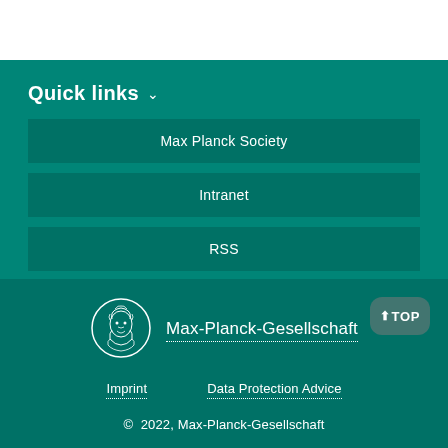Quick links
Max Planck Society
Intranet
RSS
[Figure (logo): Max-Planck-Gesellschaft circular emblem with Minerva head illustration]
Max-Planck-Gesellschaft
Imprint
Data Protection Advice
© 2022, Max-Planck-Gesellschaft